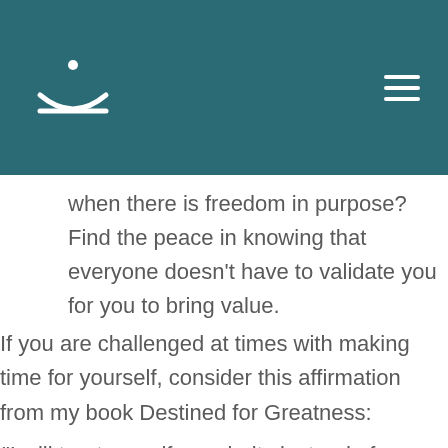[Figure (logo): Teal header bar with a white logo (upward curved arc with a dot above and a horizontal line below, resembling a face/smile icon) on the left and a white hamburger menu icon on the right]
when there is freedom in purpose? Find the peace in knowing that everyone doesn't have to validate you for you to bring value.
If you are challenged at times with making time for yourself, consider this affirmation from my book Destined for Greatness:
“I will treat myself as priority instead of an option”